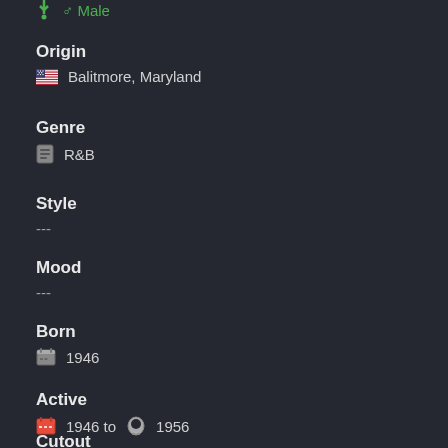♂ Male
Origin
🇺🇸 Balitmore, Maryland
Genre
🎬 R&B
Style
---
Mood
---
Born
🗒 1946
Active
📅 1946 to 👻 1956
Cutout